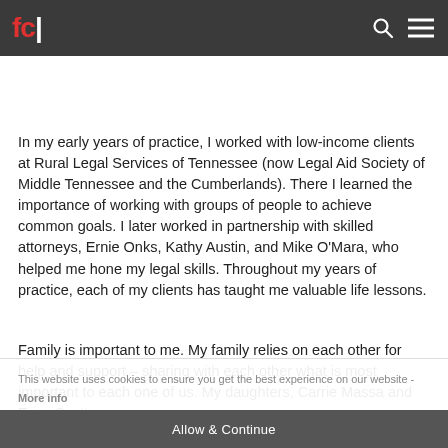fc| [logo with navigation icons]
livestock business has helped me have a better understanding of the lives and work of the rural people of this area.
In my early years of practice, I worked with low-income clients at Rural Legal Services of Tennessee (now Legal Aid Society of Middle Tennessee and the Cumberlands). There I learned the importance of working with groups of people to achieve common goals. I later worked in partnership with skilled attorneys, Ernie Onks, Kathy Austin, and Mike O'Mara, who helped me hone my legal skills. Throughout my years of practice, each of my clients has taught me valuable life lessons.
Family is important to me. My family relies on each other for help and support – sharing with each other what is most important to each one of us. My daughters, Carrie Massa and Erica Scott,
This website uses cookies to ensure you get the best experience on our website - More info
Allow & Continue